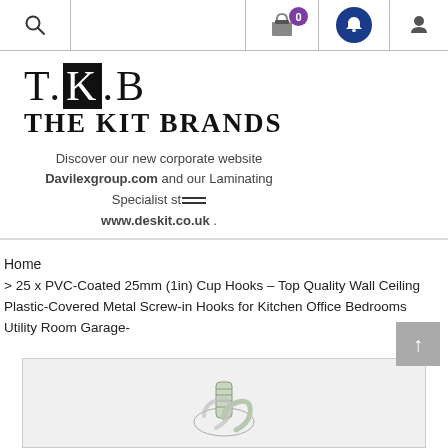Navigation bar with search, cart (0), notifications, and user account icons
[Figure (logo): T.K.B THE KIT BRANDS logo with text about Davilexgroup.com and www.deskit.co.uk]
Discover our new corporate website Davilexgroup.com and our Laminating Specialist store www.deskit.co.uk .
Home
> 25 x PVC-Coated 25mm (1in) Cup Hooks – Top Quality Wall Ceiling Plastic-Covered Metal Screw-in Hooks for Kitchen Office Bedrooms Utility Room Garage-
[Figure (photo): Product photo showing white PVC-coated cup hooks]